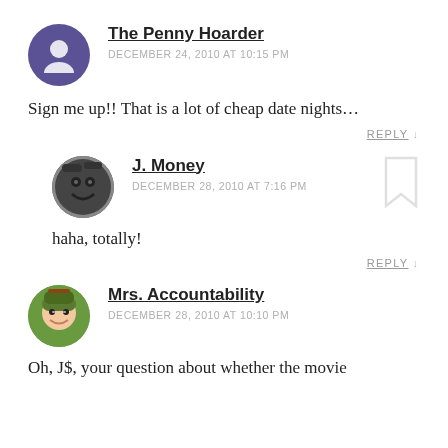The Penny Hoarder
DECEMBER 24, 2010 AT 10:15 PM
Sign me up!! That is a lot of cheap date nights…
REPLY
J. Money
DECEMBER 28, 2010 AT 7:16 PM
haha, totally!
REPLY
Mrs. Accountability
DECEMBER 28, 2010 AT 10:10 PM
Oh, J$, your question about whether the movie